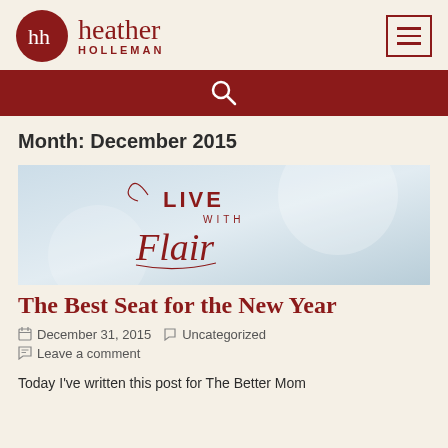[Figure (logo): Heather Holleman blog logo with dark red circle containing 'hh' monogram, text 'heather HOLLEMAN', and a hamburger menu icon in a red border box]
[Figure (other): Red search bar with white magnifying glass icon]
Month: December 2015
[Figure (illustration): Live with Flair blog post header image with soft blue-grey gradient background and decorative script text reading 'LIVE WITH Flair']
The Best Seat for the New Year
December 31, 2015   Uncategorized
Leave a comment
Today I've written this post for The Better Mom